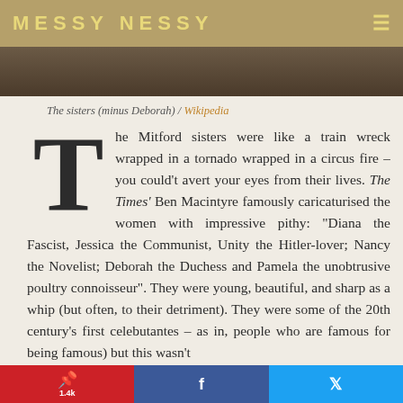MESSY NESSY
[Figure (photo): Cropped photograph of the Mitford sisters (minus Deborah)]
The sisters (minus Deborah) / Wikipedia
The Mitford sisters were like a train wreck wrapped in a tornado wrapped in a circus fire – you couldn't avert your eyes from their lives. The Times' Ben Macintyre famously caricaturised the women with impressive pithy: “Diana the Fascist, Jessica the Communist, Unity the Hitler-lover; Nancy the Novelist; Deborah the Duchess and Pamela the unobtrusive poultry connoisseur”. They were young, beautiful, and sharp as a whip (but often, to their detriment). They were some of the 20th century's first celebutantes – as in, people who are famous for being famous) but this wasn't
Pinterest 1.4k | Facebook | Twitter